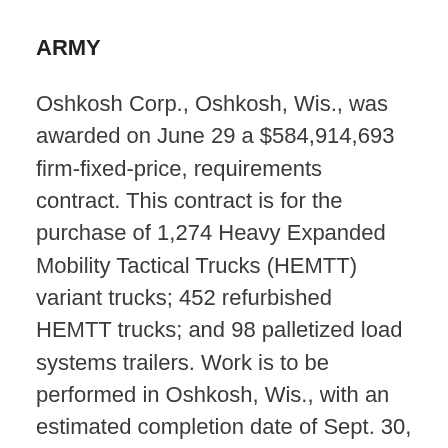ARMY
Oshkosh Corp., Oshkosh, Wis., was awarded on June 29 a $584,914,693 firm-fixed-price, requirements contract. This contract is for the purchase of 1,274 Heavy Expanded Mobility Tactical Trucks (HEMTT) variant trucks; 452 refurbished HEMTT trucks; and 98 palletized load systems trailers. Work is to be performed in Oshkosh, Wis., with an estimated completion date of Sept. 30, 2012. One bid was solicited with one bid received. TACOM, Warren, Mich., is the contracting activity (W56HZV-09-D-0024).
Oshkosh Corp., Oshkosh, Wis., was awarded on